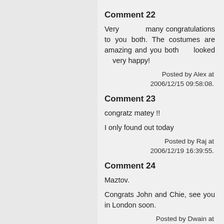Comment 22
Very many congratulations to you both. The costumes are amazing and you both looked very happy!
Posted by Alex at 2006/12/15 09:58:08.
Comment 23
congratz matey !!
I only found out today
Posted by Raj at 2006/12/19 16:39:55.
Comment 24
Maztov.
Congrats John and Chie, see you in London soon.
Posted by Dwain at 2006/12/20 12:02:53.